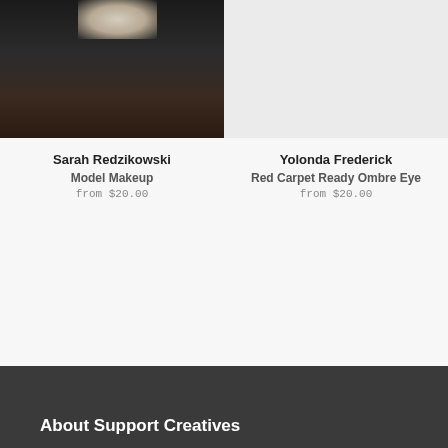[Figure (photo): Photo of Sarah Redzikowski, a woman with light hair wearing dark clothing]
Sarah Redzikowski
Model Makeup
from $20.00
[Figure (photo): Light gray placeholder image for Yolonda Frederick]
Yolonda Frederick
Red Carpet Ready Ombre Eye
from $20.00
About Support Creatives